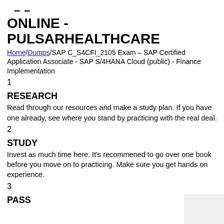– –
ONLINE - PULSARHEALTHCARE
Home/Dumps/SAP C_S4CFI_2105 Exam – SAP Certified Application Associate - SAP S/4HANA Cloud (public) - Finance Implementation
1
RESEARCH
Read through our resources and make a study plan. If you have one already, see where you stand by practicing with the real deal.
2
STUDY
Invest as much time here. It's recommened to go over one book before you move on to practicing. Make sure you get hands on experience.
3
PASS